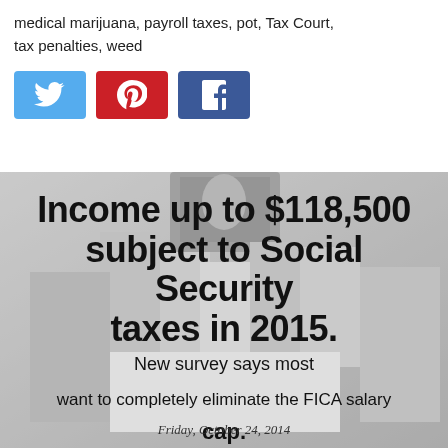medical marijuana, payroll taxes, pot, Tax Court, tax penalties, weed
[Figure (infographic): Black and white historical photo of people gathered around a signing ceremony, overlaid with text about Social Security taxes and FICA salary cap, dated Friday, October 24, 2014]
Friday, October 24, 2014